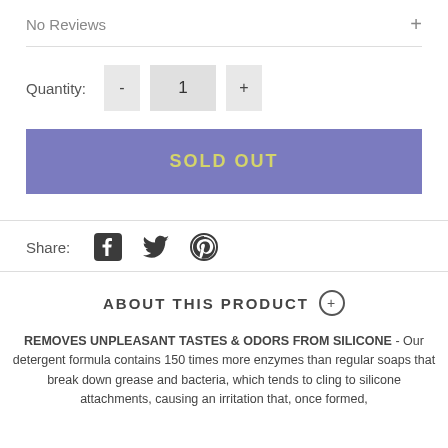No Reviews +
Quantity: - 1 +
SOLD OUT
Share:
[Figure (other): Social sharing icons: Facebook, Twitter, Pinterest]
ABOUT THIS PRODUCT ⊕
REMOVES UNPLEASANT TASTES & ODORS FROM SILICONE - Our detergent formula contains 150 times more enzymes than regular soaps that break down grease and bacteria, which tends to cling to silicone attachments, causing an irritation that, once formed,